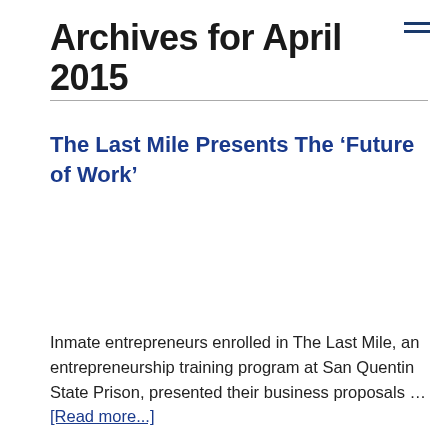Archives for April 2015
The Last Mile Presents The ‘Future of Work’
Inmate entrepreneurs enrolled in The Last Mile, an entrepreneurship training program at San Quentin State Prison, presented their business proposals … [Read more...]